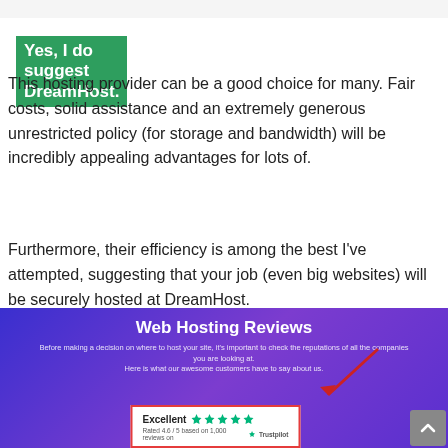Yes, I do suggest DreamHost.
This hosting provider can be a good choice for many. Fair costs, solid assistance and an extremely generous unrestricted policy (for storage and bandwidth) will be incredibly appealing advantages for lots of.
Furthermore, their efficiency is among the best I've attempted, suggesting that your job (even big websites) will be securely hosted at DreamHost.
[Figure (screenshot): Web Hosting Reviews banner with purple/blue gradient background, showing title 'Web Hosting Reviews', descriptive subtitle text, a Trustpilot 'Excellent' rating box with 5 green stars and 'Rated 4.6 / 5 based on 1,000 reviews on Trustpilot', a red arrow pointing to the box, and a scroll-to-top button.]